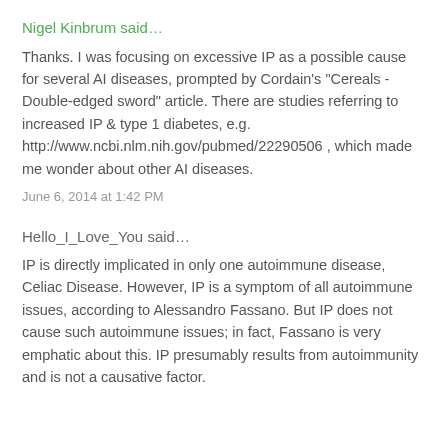Nigel Kinbrum said…
Thanks. I was focusing on excessive IP as a possible cause for several AI diseases, prompted by Cordain's "Cereals - Double-edged sword" article. There are studies referring to increased IP & type 1 diabetes, e.g. http://www.ncbi.nlm.nih.gov/pubmed/22290506 , which made me wonder about other AI diseases.
June 6, 2014 at 1:42 PM
Hello_I_Love_You said…
IP is directly implicated in only one autoimmune disease, Celiac Disease. However, IP is a symptom of all autoimmune issues, according to Alessandro Fassano. But IP does not cause such autoimmune issues; in fact, Fassano is very emphatic about this. IP presumably results from autoimmunity and is not a causative factor.